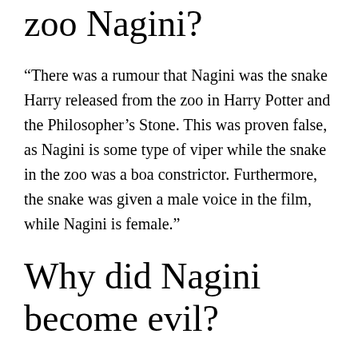zoo Nagini?
“There was a rumour that Nagini was the snake Harry released from the zoo in Harry Potter and the Philosopher’s Stone. This was proven false, as Nagini is some type of viper while the snake in the zoo was a boa constrictor. Furthermore, the snake was given a male voice in the film, while Nagini is female.”
Why did Nagini become evil?